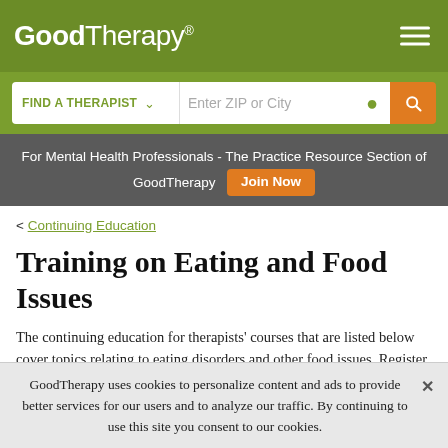GoodTherapy®
[Figure (screenshot): Search bar with FIND A THERAPIST dropdown, Enter ZIP or City input, location pin icon, and orange search button]
For Mental Health Professionals - The Practice Resource Section of GoodTherapy  Join Now
< Continuing Education
Training on Eating and Food Issues
The continuing education for therapists' courses that are listed below cover topics relating to eating disorders and other food issues. Register today to attend an upcoming
GoodTherapy uses cookies to personalize content and ads to provide better services for our users and to analyze our traffic. By continuing to use this site you consent to our cookies.